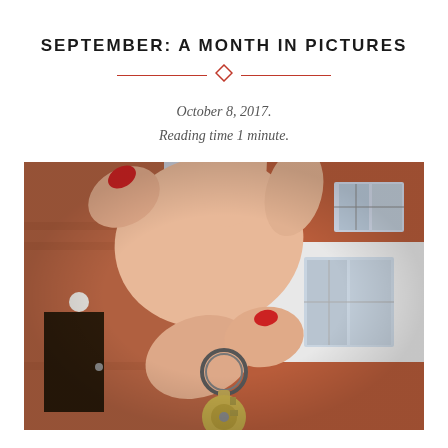SEPTEMBER: A MONTH IN PICTURES
October 8, 2017.
Reading time 1 minute.
[Figure (photo): Close-up photo of a hand with red nail polish holding a key on a metal key ring, with a brick house in the blurred background.]